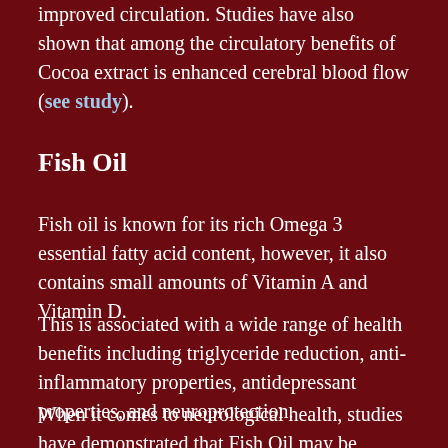improved circulation. Studies have also shown that among the circulatory benefits of Cocoa extract is enhanced cerebral blood flow (see study).
Fish Oil
Fish oil is known for its rich Omega 3 essential fatty acid content, however, it also contains small amounts of Vitamin A and Vitamin D.
This is associated with a wide range of health benefits including triglyceride reduction, anti-inflammatory properties, antidepressant properties, and neuroprotection.
When it comes to neurological health, studies have demonstrated that Fish Oil may be effective in improving cognitive function as well as attention